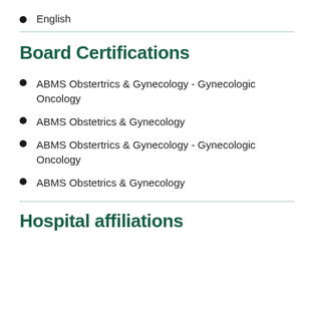English
Board Certifications
ABMS Obstertrics & Gynecology - Gynecologic Oncology
ABMS Obstetrics & Gynecology
ABMS Obstertrics & Gynecology - Gynecologic Oncology
ABMS Obstetrics & Gynecology
Hospital affiliations